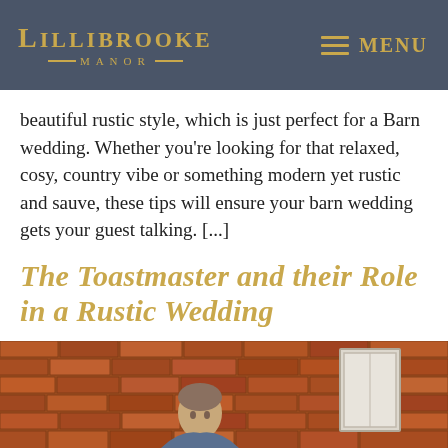Lillibrooke Manor | MENU
beautiful rustic style, which is just perfect for a Barn wedding. Whether you're looking for that relaxed, cosy, country vibe or something modern yet rustic and sauve, these tips will ensure your barn wedding gets your guest talking. [...]
The Toastmaster and their Role in a Rustic Wedding
[Figure (photo): Photograph of a person standing in front of a red brick wall with a white-framed door or window visible to the right]